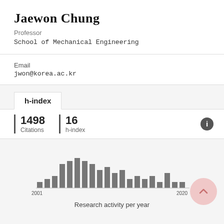Jaewon Chung
Professor
School of Mechanical Engineering
Email
jwon@korea.ac.kr
h-index
1498
Citations
16
h-index
[Figure (histogram): Research activity per year]
Research activity per year